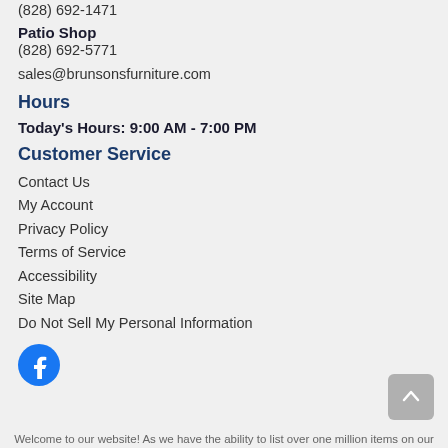(828) 692-1471
Patio Shop
(828) 692-5771
sales@brunsonsfurniture.com
Hours
Today's Hours: 9:00 AM - 7:00 PM
Customer Service
Contact Us
My Account
Privacy Policy
Terms of Service
Accessibility
Site Map
Do Not Sell My Personal Information
[Figure (logo): Facebook logo icon - circular blue Facebook icon]
Welcome to our website! As we have the ability to list over one million items on our